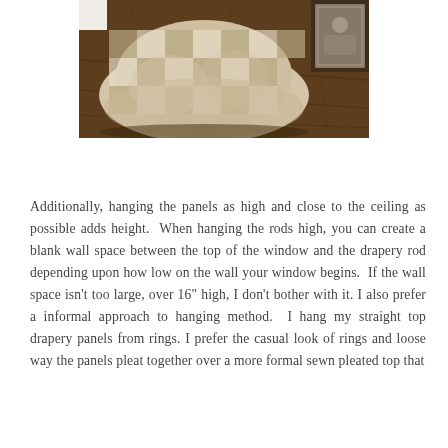[Figure (photo): A gathered plaid fabric in tan and white buffalo check pattern, pooled on a dark wood floor, with a framed picture partially visible in the background.]
Additionally, hanging the panels as high and close to the ceiling as possible adds height.  When hanging the rods high, you can create a blank wall space between the top of the window and the drapery rod depending upon how low on the wall your window begins.  If the wall space isn't too large, over 16" high, I don't bother with it. I also prefer a informal approach to hanging method.  I hang my straight top drapery panels from rings. I prefer the casual look of rings and loose way the panels pleat together over a more formal sewn pleated top that